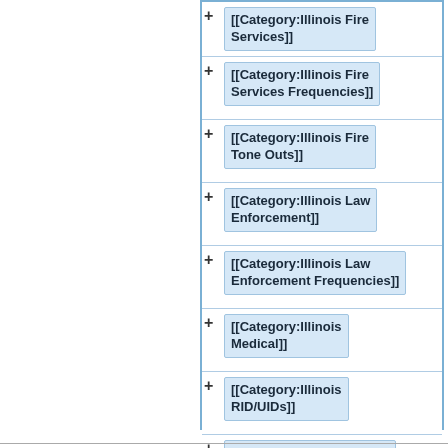[[Category:Illinois Fire Services]]
[[Category:Illinois Fire Services Frequencies]]
[[Category:Illinois Fire Tone Outs]]
[[Category:Illinois Law Enforcement]]
[[Category:Illinois Law Enforcement Frequencies]]
[[Category:Illinois Medical]]
[[Category:Illinois RID/UIDs]]
[[Category:Illinois Station IDs]]